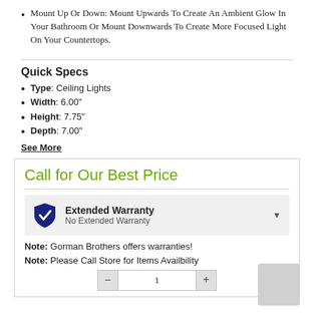Mount Up Or Down: Mount Upwards To Create An Ambient Glow In Your Bathroom Or Mount Downwards To Create More Focused Light On Your Countertops.
Quick Specs
Type: Ceiling Lights
Width: 6.00"
Height: 7.75"
Depth: 7.00"
See More
Call for Our Best Price
Extended Warranty
No Extended Warranty
Note: Gorman Brothers offers warranties!
Note: Please Call Store for Items Availbility